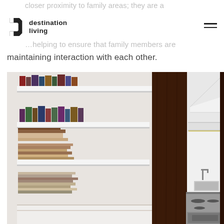closer proximity to family areas; they are a
[Figure (logo): Destination Living logo — black angular 'd' icon with text 'destination living']
…helping to ensure that family members are maintaining interaction with each other.
[Figure (photo): Interior photo showing white shelving unit filled with books and magazines on left, dark wood panel divider in center, and a modern white kitchen with stove and range hood visible on right.]